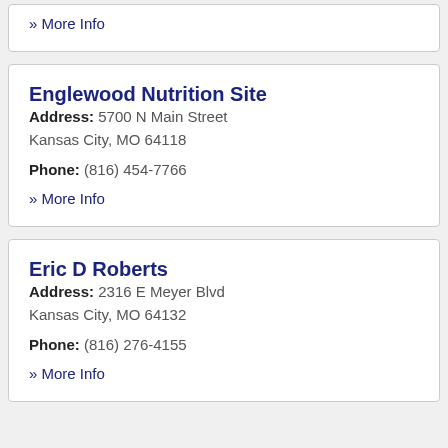» More Info
Englewood Nutrition Site
Address: 5700 N Main Street Kansas City, MO 64118
Phone: (816) 454-7766
» More Info
Eric D Roberts
Address: 2316 E Meyer Blvd Kansas City, MO 64132
Phone: (816) 276-4155
» More Info